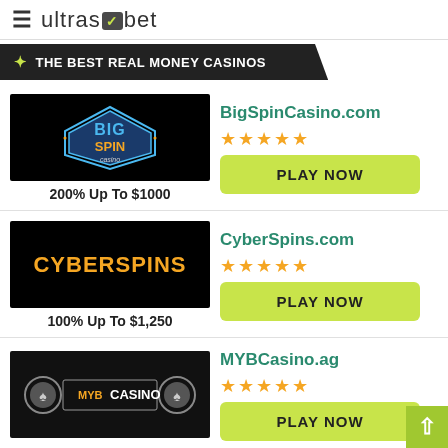ultrasbet
THE BEST REAL MONEY CASINOS
[Figure (screenshot): BigSpin Casino logo on black background]
200% Up To $1000
BigSpinCasino.com
★★★★★
PLAY NOW
[Figure (screenshot): CyberSpins casino logo on black background]
100% Up To $1,250
CyberSpins.com
★★★★★
PLAY NOW
[Figure (screenshot): MYB Casino logo on dark background]
MYBCasino.ag
★★★★★